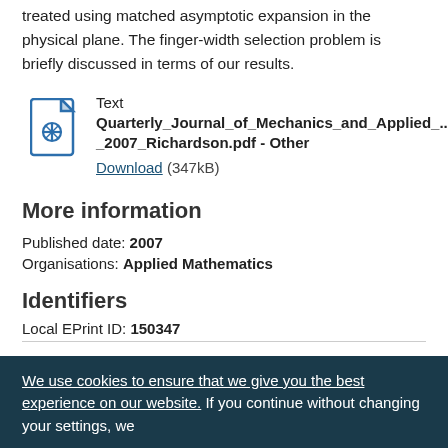treated using matched asymptotic expansion in the physical plane. The finger-width selection problem is briefly discussed in terms of our results.
[Figure (other): PDF file icon for a document attachment]
Text
Quarterly_Journal_of_Mechanics_and_Applied_..._2007_Richardson.pdf - Other
Download (347kB)
More information
Published date: 2007
Organisations: Applied Mathematics
Identifiers
Local EPrint ID: 150347
We use cookies to ensure that we give you the best experience on our website. If you continue without changing your settings, we